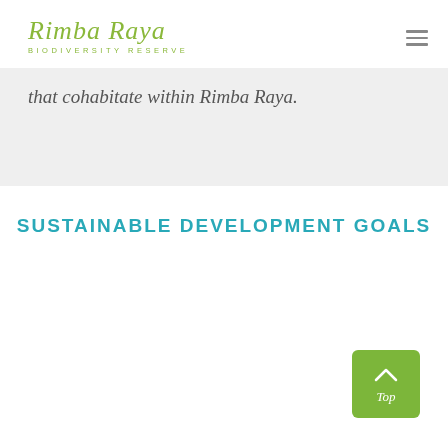Rimba Raya BIODIVERSITY RESERVE
that cohabitate within Rimba Raya.
SUSTAINABLE DEVELOPMENT GOALS
[Figure (other): Green rounded button with upward arrow icon and text 'Top']